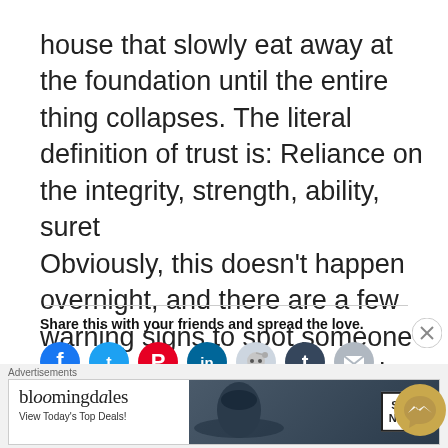...distrust in a relationship is like termites in a house that slowly eat away at the foundation until the entire thing collapses. The literal definition of trust is: Reliance on the integrity, strength, ability, sure... Obviously, this doesn't happen overnight, and there are a few warning signs to spot someone who may not be being entirely honest with you. Pay close...
Share this with your friends and spread the love.
[Figure (infographic): Social sharing icons: Facebook (blue circle), Twitter (teal circle), Pinterest (red circle), LinkedIn (dark teal circle), Reddit (light blue circle), Tumblr (dark blue circle), Email (gray circle)]
Like this:
[Figure (screenshot): Bloomingdale's advertisement banner: logo text 'bloomingdales', subtitle 'View Today's Top Deals!', image of woman with wide-brim hat, SHOP NOW > button]
[Figure (infographic): Close/X button circle top-right, Messenger chat button circle bottom-right]